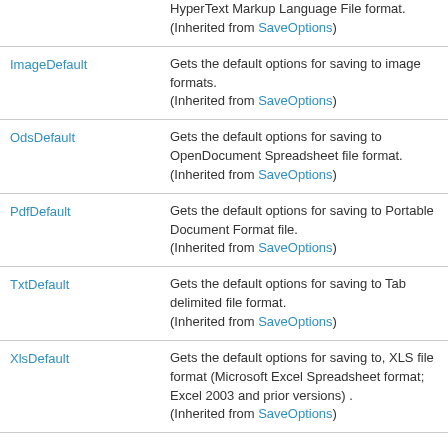| Name | Description |
| --- | --- |
| (continuation) | HyperText Markup Language File format.
(Inherited from SaveOptions) |
| ImageDefault | Gets the default options for saving to image formats.
(Inherited from SaveOptions) |
| OdsDefault | Gets the default options for saving to OpenDocument Spreadsheet file format.
(Inherited from SaveOptions) |
| PdfDefault | Gets the default options for saving to Portable Document Format file.
(Inherited from SaveOptions) |
| TxtDefault | Gets the default options for saving to Tab delimited file format.
(Inherited from SaveOptions) |
| XlsDefault | Gets the default options for saving to, XLS file format (Microsoft Excel Spreadsheet format; Excel 2003 and prior versions) .
(Inherited from SaveOptions) |